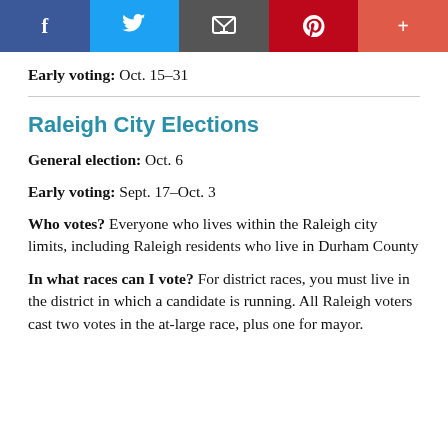[Figure (other): Social media sharing bar with Facebook, Twitter, Email, Pinterest, and plus buttons]
Early voting: Oct. 15–31
Raleigh City Elections
General election: Oct. 6
Early voting: Sept. 17–Oct. 3
Who votes? Everyone who lives within the Raleigh city limits, including Raleigh residents who live in Durham County
In what races can I vote? For district races, you must live in the district in which a candidate is running. All Raleigh voters cast two votes in the at-large race, plus one for mayor.